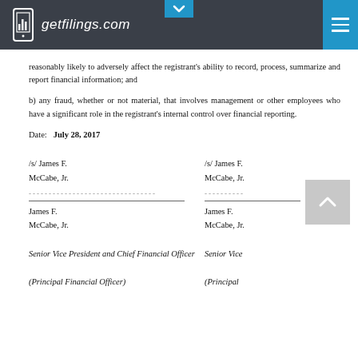getfilings.com
reasonably likely to adversely affect the registrant's ability to record, process, summarize and report financial information; and
b) any fraud, whether or not material, that involves management or other employees who have a significant role in the registrant's internal control over financial reporting.
Date: July 28, 2017
/s/ James F. McCabe, Jr.
--------------------------------
James F. McCabe, Jr.
Senior Vice President and Chief Financial Officer
(Principal Financial Officer)